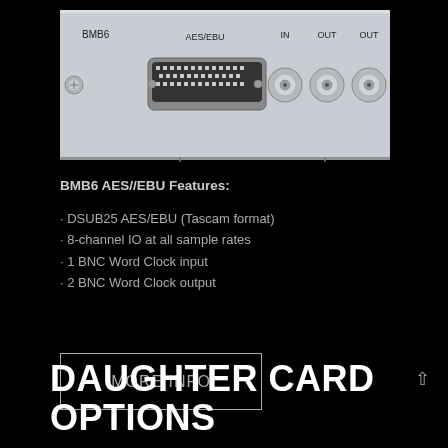[Figure (photo): BMB6 AES/EBU daughter card hardware panel showing DSUB25 connector labeled AES/EBU, BNC Word Clock IN and two OUT connectors, on a silver/grey panel background]
BMB6 AES//EBU Features:
DSUB25 AES/EBU (Tascam format)
8-channel IO at all sample rates
1 BNC Word Clock input
2 BNC Word Clock output
MORE INFO
DAUGHTER CARD OPTIONS